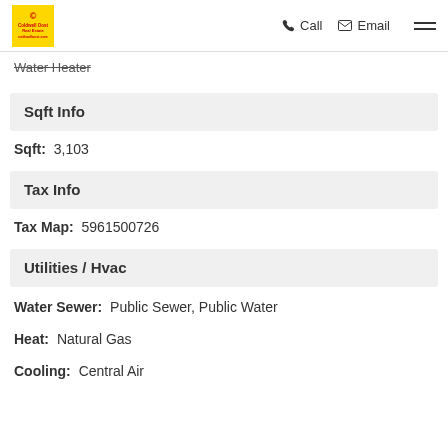Call  Email
Water Heater
Sqft Info
Sqft: 3,103
Tax Info
Tax Map: 5961500726
Utilities / Hvac
Water Sewer: Public Sewer, Public Water
Heat: Natural Gas
Cooling: Central Air